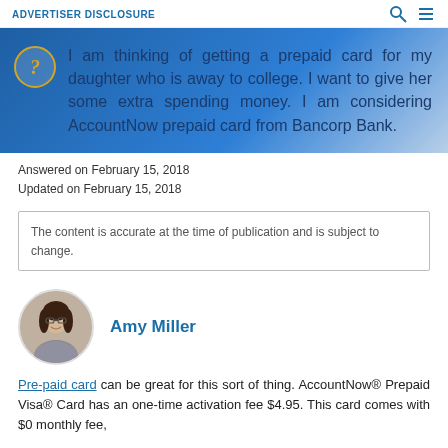ADVERTISER DISCLOSURE
I am thinking of getting a prepaid card for my daughter who is away to college. I want to give her some extra spending money. I am considering AccountNow prepaid card from Bancorp Bank.
Answered on February 15, 2018
Updated on February 15, 2018
The content is accurate at the time of publication and is subject to change.
Amy Miller
[Figure (photo): Circular portrait photo of Amy Miller, a woman with glasses and dark hair wearing a grey top]
Pre-paid card can be great for this sort of thing. AccountNow® Prepaid Visa® Card has an one-time activation fee $4.95. This card comes with $0 monthly fee,